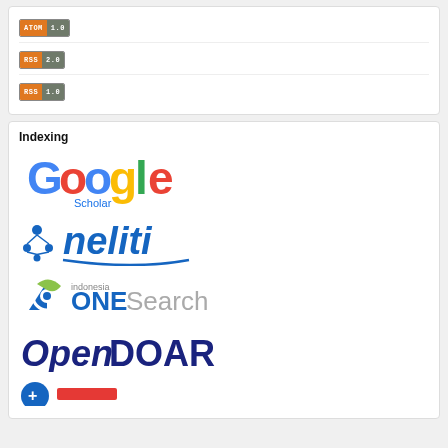[Figure (logo): ATOM 1.0 feed badge]
[Figure (logo): RSS 2.0 feed badge]
[Figure (logo): RSS 1.0 feed badge]
Indexing
[Figure (logo): Google Scholar logo]
[Figure (logo): neliti logo]
[Figure (logo): Indonesia OneSearch logo]
[Figure (logo): OpenDOAR logo]
[Figure (logo): Partial logo at bottom]